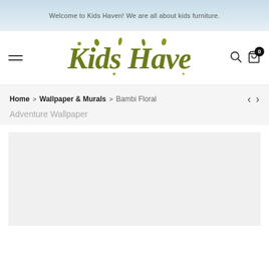Welcome to Kids Haven! We are all about kids furniture.
[Figure (logo): Kids Haven logo with decorative green plant-themed lettering]
Home > Wallpaper & Murals > Bambi Floral Adventure Wallpaper
Bambi Floral Adventure Wallpaper
[Figure (photo): Product image placeholder for Bambi Floral Adventure Wallpaper]